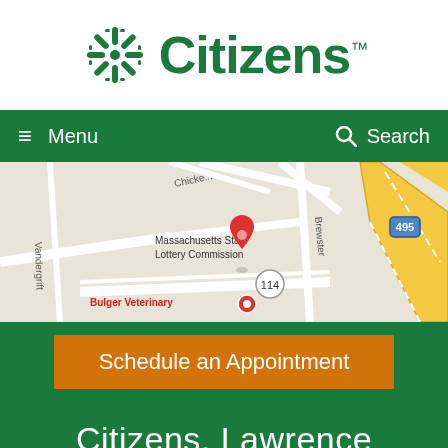[Figure (logo): Citizens Bank logo with green snowflake/asterisk icon and 'Citizens™' text in green]
≡ Menu   🔍 Search
[Figure (map): Google Maps view showing location near Massachusetts State Lottery Commission and Bulger Veterinary, with red location pin, Route 114 marker, and highway 495]
Schedule an Appointment
Citizens, Lawrence
160 Winthrop Ave
Lawrence, MA 01843